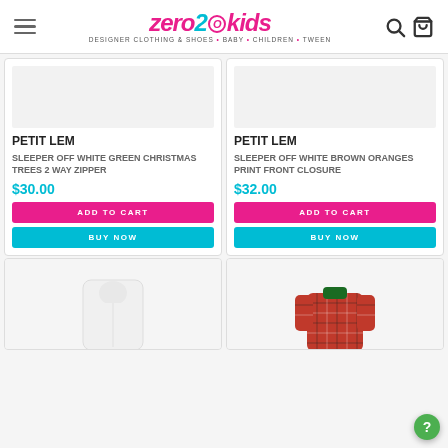zero20kids — DESIGNER CLOTHING & SHOES • BABY • CHILDREN • TWEEN
PETIT LEM
SLEEPER OFF WHITE GREEN CHRISTMAS TREES 2 WAY ZIPPER
$30.00
ADD TO CART
BUY NOW
PETIT LEM
SLEEPER OFF WHITE BROWN ORANGES PRINT FRONT CLOSURE
$32.00
ADD TO CART
BUY NOW
[Figure (photo): Partial product image - white children's sleeper garment]
[Figure (photo): Partial product image - red plaid children's sleeper garment]